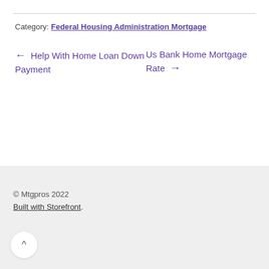Category: Federal Housing Administration Mortgage
← Help With Home Loan Down Payment
Us Bank Home Mortgage Rate →
© Mtgpros 2022
Built with Storefront.